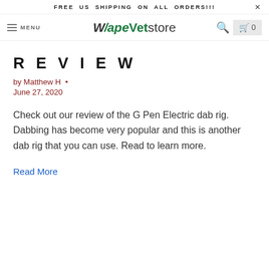FREE US SHIPPING ON ALL ORDERS!!!  X
MENU  VapeVetstore  [search] [cart 0]
REVIEW
by Matthew H •
June 27, 2020
Check out our review of the G Pen Electric dab rig.  Dabbing has become very popular and this is another dab rig that you can use. Read to learn more.
Read More